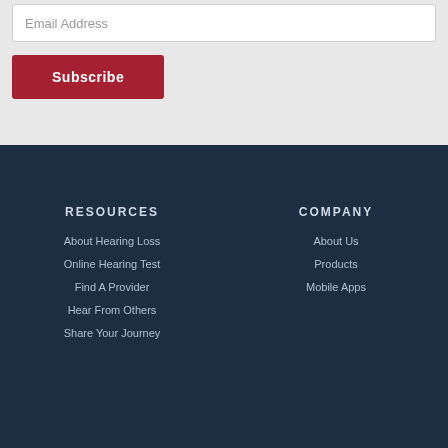Email Address
Subscribe
RESOURCES
About Hearing Loss
Online Hearing Test
Find A Provider
Hear From Others
Share Your Journey
COMPANY
About Us
Products
Mobile Apps